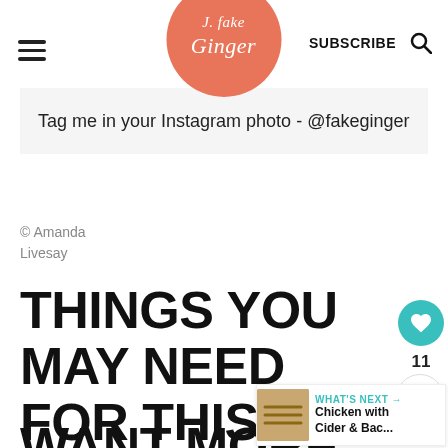Fake Ginger — SUBSCRIBE
Tag me in your Instagram photo - @fakeginger
© Amanda Livesay
THINGS YOU MAY NEED FOR THIS RECIPE:
WANT MORE